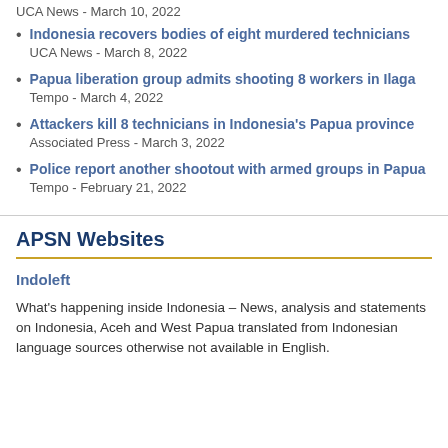UCA News - March 10, 2022
Indonesia recovers bodies of eight murdered technicians
UCA News - March 8, 2022
Papua liberation group admits shooting 8 workers in Ilaga
Tempo - March 4, 2022
Attackers kill 8 technicians in Indonesia's Papua province
Associated Press - March 3, 2022
Police report another shootout with armed groups in Papua
Tempo - February 21, 2022
APSN Websites
Indoleft
What's happening inside Indonesia – News, analysis and statements on Indonesia, Aceh and West Papua translated from Indonesian language sources otherwise not available in English.